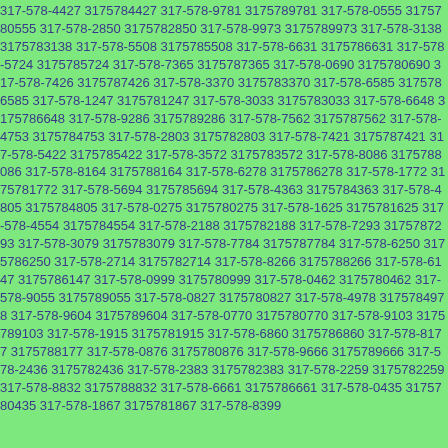317-578-4427 3175784427 317-578-9781 3175789781 317-578-0555 3175780555 317-578-2850 3175782850 317-578-9973 3175789973 317-578-3138 3175783138 317-578-5508 3175785508 317-578-6631 3175786631 317-578-5724 3175785724 317-578-7365 3175787365 317-578-0690 3175780690 317-578-7426 3175787426 317-578-3370 3175783370 317-578-6585 3175786585 317-578-1247 3175781247 317-578-3033 3175783033 317-578-6648 3175786648 317-578-9286 3175789286 317-578-7562 3175787562 317-578-4753 3175784753 317-578-2803 3175782803 317-578-7421 3175787421 317-578-5422 3175785422 317-578-3572 3175783572 317-578-8086 3175788086 317-578-8164 3175788164 317-578-6278 3175786278 317-578-1772 3175781772 317-578-5694 3175785694 317-578-4363 3175784363 317-578-4805 3175784805 317-578-0275 3175780275 317-578-1625 3175781625 317-578-4554 3175784554 317-578-2188 3175782188 317-578-7293 3175787293 317-578-3079 3175783079 317-578-7784 3175787784 317-578-6250 3175786250 317-578-2714 3175782714 317-578-8266 3175788266 317-578-6147 3175786147 317-578-0999 3175780999 317-578-0462 3175780462 317-578-9055 3175789055 317-578-0827 3175780827 317-578-4978 3175784978 317-578-9604 3175789604 317-578-0770 3175780770 317-578-9103 3175789103 317-578-1915 3175781915 317-578-6860 3175786860 317-578-8177 3175788177 317-578-0876 3175780876 317-578-9666 3175789666 317-578-2436 3175782436 317-578-2383 3175782383 317-578-2259 3175782259 317-578-8832 3175788832 317-578-6661 3175786661 317-578-0435 3175780435 317-578-1867 3175781867 317-578-8399